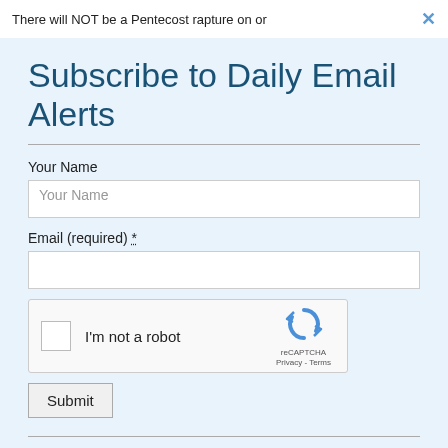There will NOT be a Pentecost rapture on or
Subscribe to Daily Email Alerts
Your Name
Your Name
Email (required) *
[Figure (screenshot): reCAPTCHA widget with checkbox 'I'm not a robot' and reCAPTCHA logo with Privacy - Terms links]
Submit
By submitting this form, you are consenting to receive marketing emails from: News With Views, P.O. Box 990, Spring Branch, TX, 78070-9998,